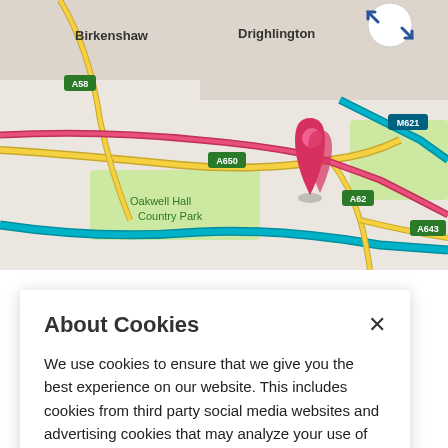[Figure (map): Street map showing Birkenshaw, Drighlington, Morley, Oakwell Hall Country Park areas with road labels A58, A650, A62, A643, M621, M62. A pink/red location pin is visible near the A650/M621 junction.]
About Cookies
We use cookies to ensure that we give you the best experience on our website. This includes cookies from third party social media websites and advertising cookies that may analyze your use of this site. Click "Got it" to agree or "Cookie Settings" to opt out.
Cookie Notice
Got It
Cookies Settings